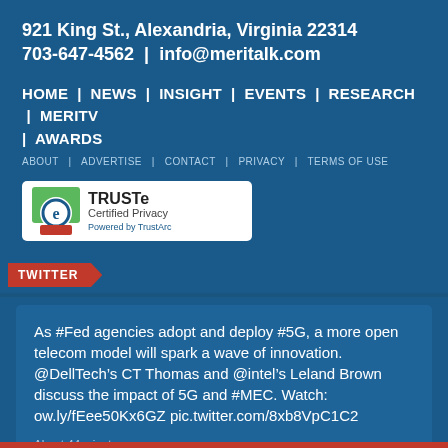921 King St., Alexandria, Virginia 22314
703-647-4562 | info@meritalk.com
HOME | NEWS | INSIGHT | EVENTS | RESEARCH | MERITV | AWARDS
ABOUT | ADVERTISE | CONTACT | PRIVACY | TERMS OF USE
[Figure (logo): TRUSTe Certified Privacy Powered by TrustArc badge]
TWITTER
As #Fed agencies adopt and deploy #5G, a more open telecom model will spark a wave of innovation. @DellTech’s CT Thomas and @intel’s Leland Brown discuss the impact of 5G and #MEC. Watch: ow.ly/fEee50Kx6GZ pic.twitter.com/8xb8VpC1C2
About 44 minutes ago